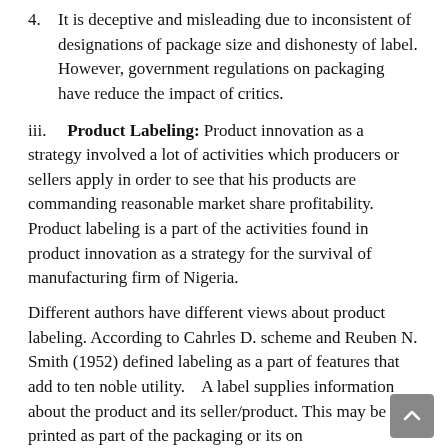4. It is deceptive and misleading due to inconsistent of designations of package size and dishonesty of label. However, government regulations on packaging have reduce the impact of critics.
iii. Product Labeling: Product innovation as a strategy involved a lot of activities which producers or sellers apply in order to see that his products are commanding reasonable market share profitability. Product labeling is a part of the activities found in product innovation as a strategy for the survival of manufacturing firm of Nigeria.
Different authors have different views about product labeling. According to Cahrles D. scheme and Reuben N. Smith (1952) defined labeling as a part of features that add to ten noble utility.   A label supplies information about the product and its seller/product. This may be printed as part of the packaging or its on